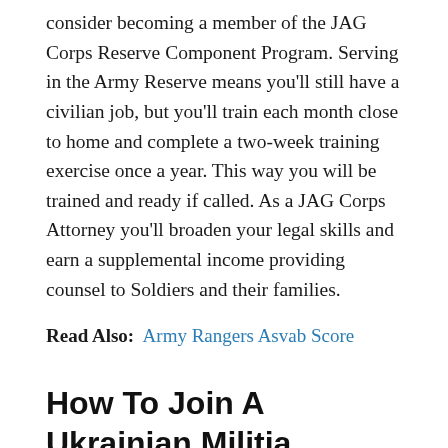consider becoming a member of the JAG Corps Reserve Component Program. Serving in the Army Reserve means you'll still have a civilian job, but you'll train each month close to home and complete a two-week training exercise once a year. This way you will be trained and ready if called. As a JAG Corps Attorney you'll broaden your legal skills and earn a supplemental income providing counsel to Soldiers and their families.
Read Also: Army Rangers Asvab Score
How To Join A Ukrainian Militia
Meet the motley thugs of Right Sector.